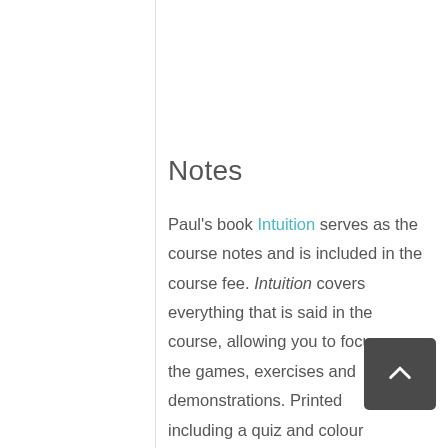Notes
Paul's book Intuition serves as the course notes and is included in the course fee. Intuition covers everything that is said in the course, allowing you to focus on the games, exercises and demonstrations. Printed outs including a quiz and colour